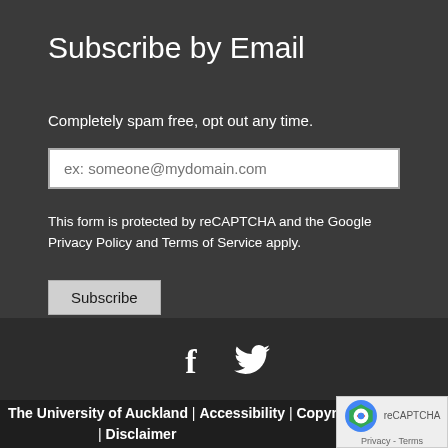Subscribe by Email
Completely spam free, opt out any time.
ex: someone@mydomain.com
This form is protected by reCAPTCHA and the Google Privacy Policy and Terms of Service apply.
Subscribe
[Figure (illustration): Facebook and Twitter social media icons in white on dark background]
The University of Auckland | Accessibility | Copyright | Disclaimer
[Figure (logo): Google reCAPTCHA badge with Privacy and Terms links]